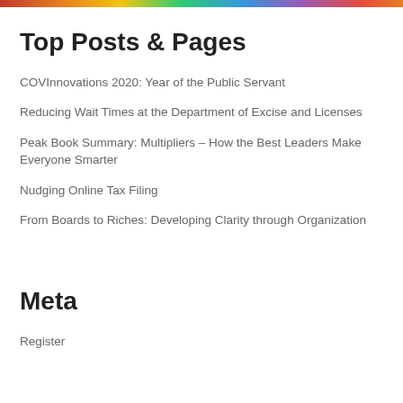[Figure (photo): Colorful image strip at the top of the page]
Top Posts & Pages
COVInnovations 2020: Year of the Public Servant
Reducing Wait Times at the Department of Excise and Licenses
Peak Book Summary: Multipliers – How the Best Leaders Make Everyone Smarter
Nudging Online Tax Filing
From Boards to Riches: Developing Clarity through Organization
Meta
Register